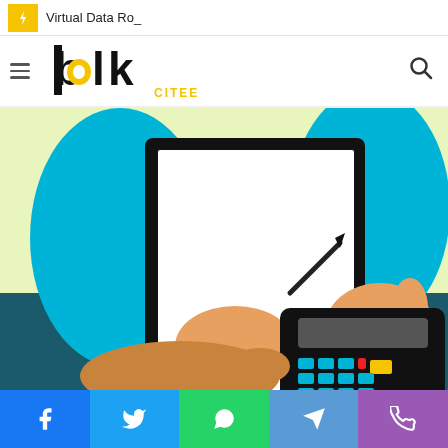Virtual Data Ro_
[Figure (logo): blk CITEE logo with hamburger menu on left and search icon on right]
[Figure (illustration): Illustration of a person in blue shirt holding a tablet/clipboard with a pen, and a hand using a calculator on a dark teal desk]
[Figure (other): Social sharing bar with Facebook, Twitter, WhatsApp, Telegram, and phone icons]